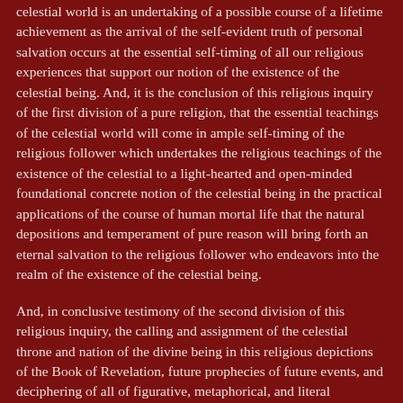celestial world is an undertaking of a possible course of a lifetime achievement as the arrival of the self-evident truth of personal salvation occurs at the essential self-timing of all our religious experiences that support our notion of the existence of the celestial being. And, it is the conclusion of this religious inquiry of the first division of a pure religion, that the essential teachings of the celestial world will come in ample self-timing of the religious follower which undertakes the religious teachings of the existence of the celestial to a light-hearted and open-minded foundational concrete notion of the celestial being in the practical applications of the course of human mortal life that the natural depositions and temperament of pure reason will bring forth an eternal salvation to the religious follower who endeavors into the realm of the existence of the celestial being.
And, in conclusive testimony of the second division of this religious inquiry, the calling and assignment of the celestial throne and nation of the divine being in this religious depictions of the Book of Revelation, future prophecies of future events, and deciphering of all of figurative, metaphorical, and literal contextual senses of the future